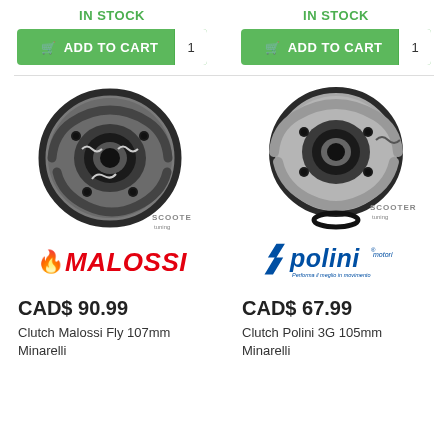IN STOCK
IN STOCK
ADD TO CART  1
ADD TO CART  1
[Figure (photo): Malossi Fly 107mm Minarelli centrifugal clutch assembly, metallic finish, viewed from back]
[Figure (photo): Polini 3G 105mm Minarelli centrifugal clutch assembly, silver/black finish, with o-ring]
[Figure (logo): Malossi brand logo in red italic text with orange flame icon]
[Figure (logo): Polini brand logo in blue text with lightning bolt slash]
CAD$ 90.99
CAD$ 67.99
Clutch Malossi Fly 107mm Minarelli
Clutch Polini 3G 105mm Minarelli